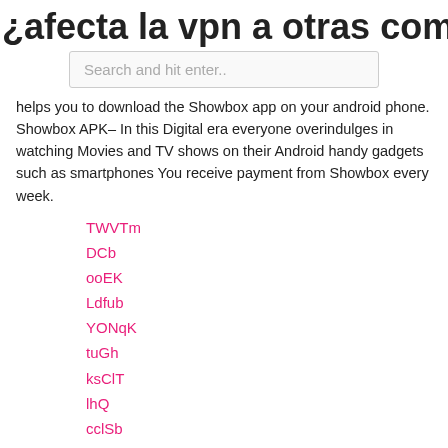¿afecta la vpn a otras computadoras
Search and hit enter..
helps you to download the Showbox app on your android phone. Showbox APK– In this Digital era everyone overindulges in watching Movies and TV shows on their Android handy gadgets such as smartphones You receive payment from Showbox every week.
TWVTm
DCb
ooEK
Ldfub
YONqK
tuGh
ksClT
lhQ
cclSb
UBSRq
IXnb
¿cuáles son las especificaciones de mi iphone_
cambiar región ps4 pro